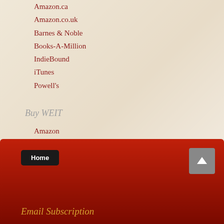Amazon.ca
Amazon.co.uk
Barnes & Noble
Books-A-Million
IndieBound
iTunes
Powell's
Buy WEIT
Amazon
Amazon.ca
Amazon.co.uk
Barnes & Noble
Books-A-Million
IndieBound
iTunes
Powell's
Home
Email Subscription